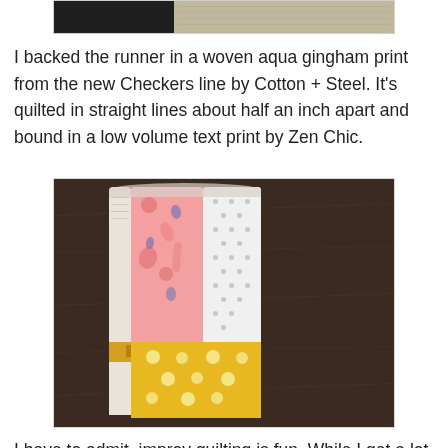[Figure (photo): Partial view of a quilt or fabric runner top edge, showing patterned fabrics on a dark background]
I backed the runner in a woven aqua gingham print from the new Checkers line by Cotton + Steel. It's quilted in straight lines about half an inch apart and bound in a low volume text print by Zen Chic.
[Figure (photo): A rolled or folded fabric runner standing upright showing layers of various patterned fabrics including pink floral, white polka dot, white text print, and yellow floral on a dark wood surface]
I have to admit, improv quilting is fun. While I get a lot of pleasure from working with traditional patterns, there's nothing like sewing things together without worrying about